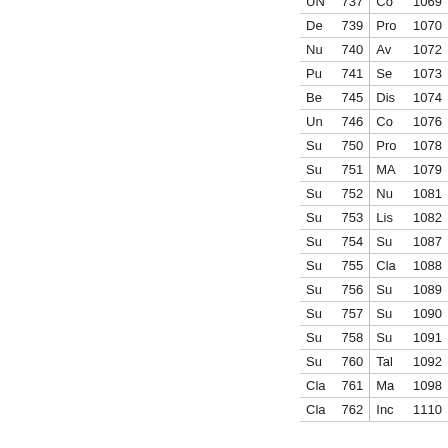| Col1 | Num1 | Col2 | Num2 |
| --- | --- | --- | --- |
| UN | 737 | Co | 1069 |
| De | 739 | Pro | 1070 |
| Nu | 740 | Av | 1072 |
| Pu | 741 | Se | 1073 |
| Be | 745 | Dis | 1074 |
| Un | 746 | Co | 1076 |
| Su | 750 | Pro | 1078 |
| Su | 751 | MA | 1079 |
| Su | 752 | Nu | 1081 |
| Su | 753 | Lis | 1082 |
| Su | 754 | Su | 1087 |
| Su | 755 | Cla | 1088 |
| Su | 756 | Su | 1089 |
| Su | 757 | Su | 1090 |
| Su | 758 | Su | 1091 |
| Su | 760 | Tal | 1092 |
| Cla | 761 | Ma | 1098 |
| Cla | 762 | Inc | 1110 |